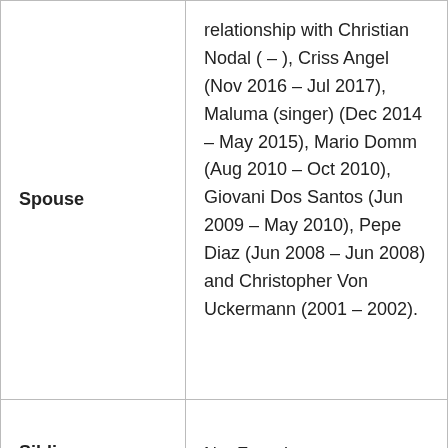| Field | Value |
| --- | --- |
| Spouse | relationship with Christian Nodal ( – ), Criss Angel (Nov 2016 – Jul 2017), Maluma (singer) (Dec 2014 – May 2015), Mario Domm (Aug 2010 – Oct 2010), Giovani Dos Santos (Jun 2009 – May 2010), Pepe Diaz (Jun 2008 – Jun 2008) and Christopher Von Uckermann (2001 – 2002). |
| Siblings | Not Found |